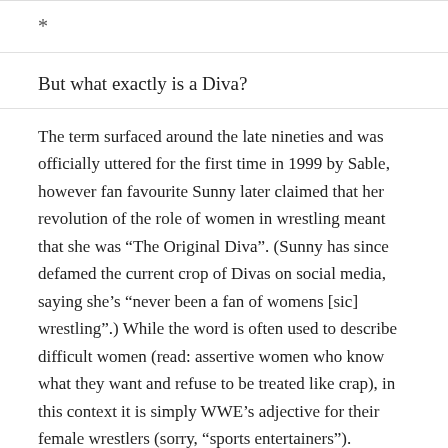*
But what exactly is a Diva?
The term surfaced around the late nineties and was officially uttered for the first time in 1999 by Sable, however fan favourite Sunny later claimed that her revolution of the role of women in wrestling meant that she was “The Original Diva”. (Sunny has since defamed the current crop of Divas on social media, saying she’s “never been a fan of womens [sic] wrestling”.) While the word is often used to describe difficult women (read: assertive women who know what they want and refuse to be treated like crap), in this context it is simply WWE’s adjective for their female wrestlers (sorry, “sports entertainers”).
Some of the best known former Divas, Trish Stratus and